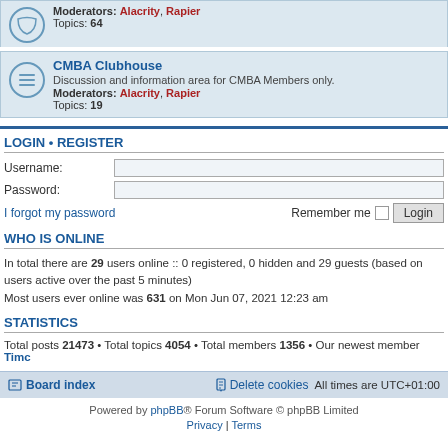Moderators: Alacrity, Rapier
Topics: 64
CMBA Clubhouse
Discussion and information area for CMBA Members only.
Moderators: Alacrity, Rapier
Topics: 19
LOGIN • REGISTER
Username:
Password:
I forgot my password
Remember me
Login
WHO IS ONLINE
In total there are 29 users online :: 0 registered, 0 hidden and 29 guests (based on users active over the past 5 minutes)
Most users ever online was 631 on Mon Jun 07, 2021 12:23 am
STATISTICS
Total posts 21473 • Total topics 4054 • Total members 1356 • Our newest member Timc
Board index | Delete cookies | All times are UTC+01:00
Powered by phpBB® Forum Software © phpBB Limited
Privacy | Terms